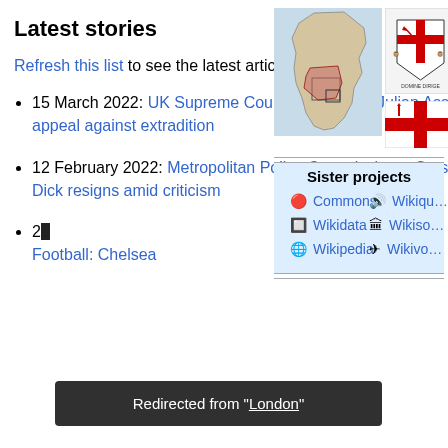Latest stories
Refresh this list to see the latest articles.
15 March 2022: UK Supreme Court will not hear Julian Assange's appeal against extradition
12 February 2022: Metropolitan Police Commissioner Cressida Dick resigns amid criticism
28 [truncated] Football: Chelsea [truncated]
[Figure (map): Map of England showing London area highlighted]
[Figure (illustration): Coat of arms of the City of London with motto DOMINE DIRIGE]
[Figure (illustration): Flag of the City of London - red cross on white background]
| Sister projects |
| --- |
| Commons | Wikiquote |
| Wikidata | Wikisource |
| Wikipedia | Wikivoyage |
Redirected from "London"